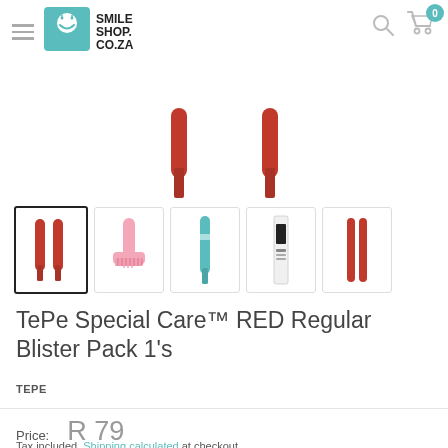[Figure (logo): SmileShop.co.za logo — teal square with smiley face and text SMILE SHOP CO.ZA in black bold]
[Figure (photo): Main product area showing tops of two red TePe interdental brush handles partially visible]
[Figure (photo): Thumbnail strip: 1) selected thumb with two red TePe brushes, 2) pink hair brush thumb, 3) teal TePe brush thumb, 4) black-and-white tube/package thumb, 5) two red brush sticks thumb]
TePe Special Care™ RED Regular Blister Pack 1's
TEPE
Price:
R 79
Tax included. Shipping calculated at checkout.